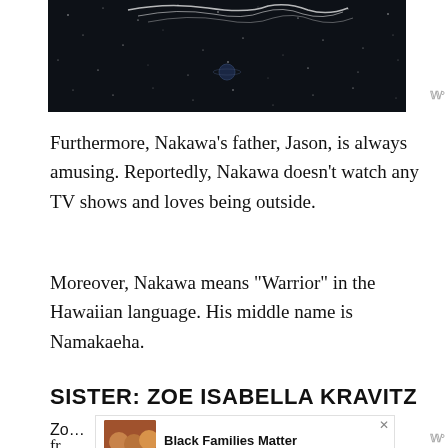[Figure (photo): Dark space-themed image with star field and decorative calligraphy/script text at top, small planet visible in center]
Furthermore, Nakawa’s father, Jason, is always amusing. Reportedly, Nakawa doesn’t watch any TV shows and loves being outside.
Moreover, Nakawa means “Warrior” in the Hawaiian language. His middle name is Namakaeha.
SISTER: ZOE ISABELLA KRAVITZ
Zo… singer fr… the
[Figure (photo): Advertisement photo showing smiling family faces]
Black Families Matter